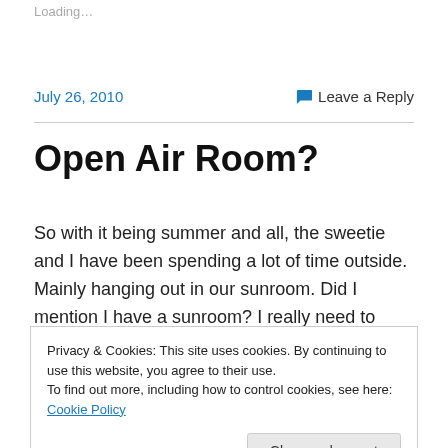Loading…
July 26, 2010
Leave a Reply
Open Air Room?
So with it being summer and all, the sweetie and I have been spending a lot of time outside. Mainly hanging out in our sunroom. Did I mention I have a sunroom? I really need to make more pictures of the casa. Right now the
Privacy & Cookies: This site uses cookies. By continuing to use this website, you agree to their use.
To find out more, including how to control cookies, see here: Cookie Policy
Close and accept
once. I've been trying to come up with ways to make it